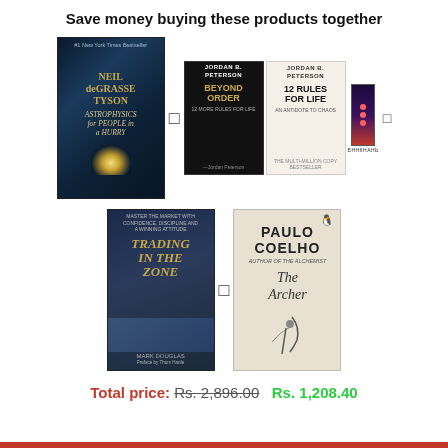Save money buying these products together
[Figure (photo): Book cover: Neil deGrasse Tyson - Astrophysics for People in a Hurry, dark space background with starry sky]
[Figure (photo): Book covers: Jordan B. Peterson - Beyond Order (black cover) and 12 Rules for Life (light cover), plus a bookmark]
[Figure (photo): Book cover: Trading in the Zone by Mark Douglas, dark blue background]
[Figure (photo): Book cover: The Archer by Paulo Coelho, beige cover with archer illustration]
Total price: Rs. 2,896.00  Rs. 1,208.40